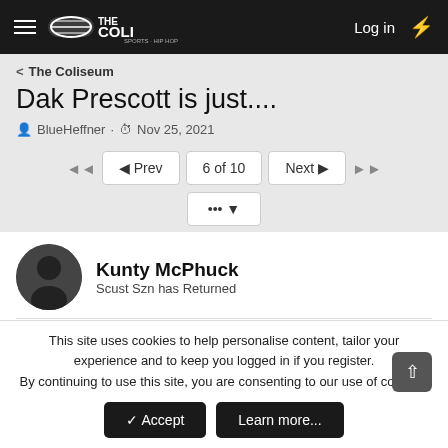THE COLI — Log in
< The Coliseum
Dak Prescott is just....
BlueHeffner · Nov 25, 2021
◄◄  ◄ Prev  6 of 10  Next ►  ►►  ••• ▼
Kunty McPhuck
Scust Szn has Returned
Nov 26, 2021  #76
This site uses cookies to help personalise content, tailor your experience and to keep you logged in if you register.
By continuing to use this site, you are consenting to our use of cookies.
✔ Accept   Learn more...